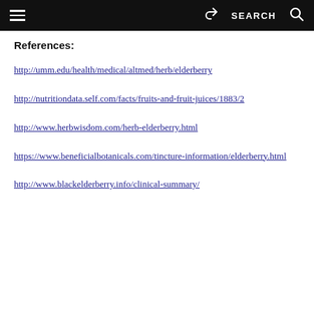≡  [share]  SEARCH  🔍
References:
http://umm.edu/health/medical/altmed/herb/elderberry
http://nutritiondata.self.com/facts/fruits-and-fruit-juices/1883/2
http://www.herbwisdom.com/herb-elderberry.html
https://www.beneficialbotanicals.com/tincture-information/elderberry.html
http://www.blackelderberry.info/clinical-summary/